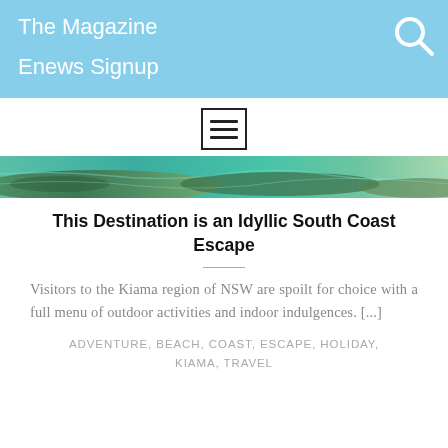The Magazine
Enews Signup
[Figure (screenshot): Hamburger menu icon in a square border]
[Figure (photo): Aerial coastal photo showing turquoise ocean water and green shoreline]
This Destination is an Idyllic South Coast Escape
Visitors to the Kiama region of NSW are spoilt for choice with a full menu of outdoor activities and indoor indulgences. [...]
ADVENTURE, BEACH, COAST, ESCAPE, HOLIDAY, KIAMA, TRAVEL